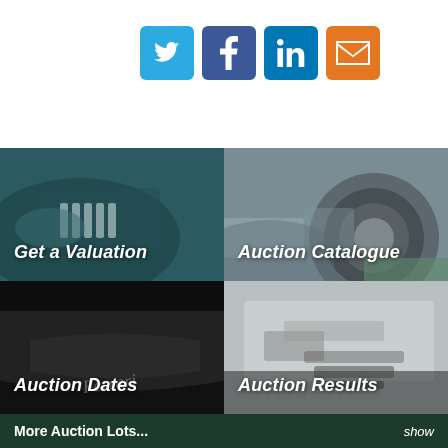[Figure (other): Social media sharing icons: Twitter (blue), Facebook (dark blue), LinkedIn (blue), Email (orange)]
[Figure (photo): Close-up of a classic car hood/grille in teal/dark green color with text overlay 'Get a Valuation']
[Figure (photo): Close-up of a silver/gray car wheel and tire on gravel with text overlay 'Auction Catalogue']
[Figure (photo): Dark image of a black Ferrari with script Ferrari logo and text overlay 'Auction Dates']
[Figure (photo): White sports car roof/engine cover with text overlay 'Auction Results']
More Auction Lots...  show